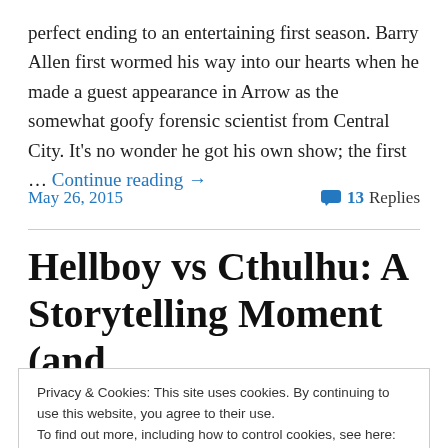perfect ending to an entertaining first season. Barry Allen first wormed his way into our hearts when he made a guest appearance in Arrow as the somewhat goofy forensic scientist from Central City. It's no wonder he got his own show; the first … Continue reading →
May 26, 2015   13 Replies
Hellboy vs Cthulhu: A Storytelling Moment (and
Privacy & Cookies: This site uses cookies. By continuing to use this website, you agree to their use.
To find out more, including how to control cookies, see here: Cookie Policy
Close and accept